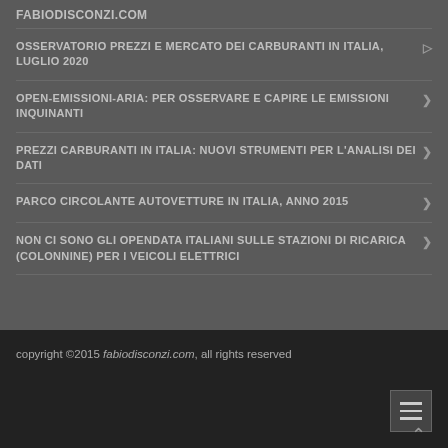FABIODISCONZI.COM
OSSERVATORIO PREZZI E MERCATO DEI CARBURANTI IN ITALIA, LUGLIO 2020
OPEN-EMISSIONI-ARIA: PER OSSERVARE E CAPIRE LE EMISSIONI INQUINANTI
PREZZI CARBURANTI IN ITALIA: NUOVI STRUMENTI PER L'ANALISI DEI DATI
PARCO CIRCOLANTE AUTOVETTURE IN ITALIA, ANNO 2015
NON CI SONO GLI OPENDATA ITALIANI SULLE STAZIONI DI RICARICA (COLONNINE) PER I VEICOLI ELETTRICI
copyright ©2015 fabiodisconzi.com, all rights reserved